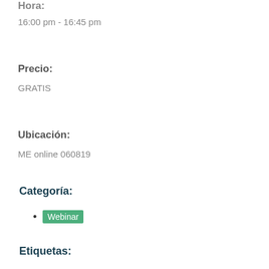Hora:
16:00 pm - 16:45 pm
Precio:
GRATIS
Ubicación:
ME online 060819
Categoría:
Webinar
Etiquetas: